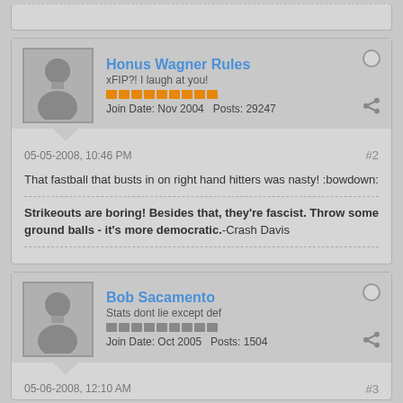Honus Wagner Rules
xFIP?! I laugh at you!
Join Date: Nov 2004  Posts: 29247
05-05-2008, 10:46 PM
#2
That fastball that busts in on right hand hitters was nasty! :bowdown:
Strikeouts are boring! Besides that, they're fascist. Throw some ground balls - it's more democratic.-Crash Davis
Bob Sacamento
Stats dont lie except def
Join Date: Oct 2005  Posts: 1504
05-06-2008, 12:10 AM
#3